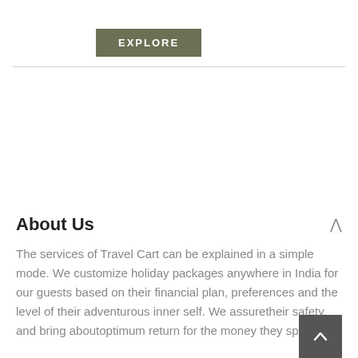EXPLORE
About Us
The services of Travel Cart can be explained in a simple mode. We customize holiday packages anywhere in India for our guests based on their financial plan, preferences and the level of their adventurous inner self. We assuretheir safety, and bring aboutoptimum return for the money they spend.
Contact Us
Useful Links